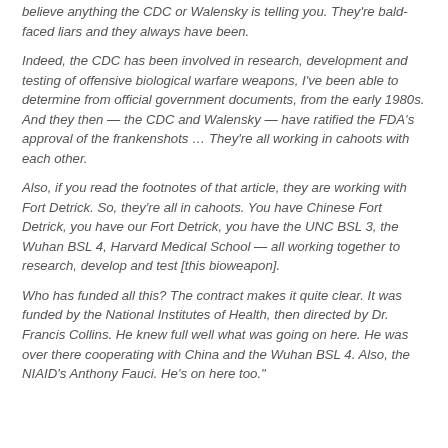believe anything the CDC or Walensky is telling you. They're bald-faced liars and they always have been.
Indeed, the CDC has been involved in research, development and testing of offensive biological warfare weapons, I've been able to determine from official government documents, from the early 1980s. And they then — the CDC and Walensky — have ratified the FDA's approval of the frankenshots … They're all working in cahoots with each other.
Also, if you read the footnotes of that article, they are working with Fort Detrick. So, they're all in cahoots. You have Chinese Fort Detrick, you have our Fort Detrick, you have the UNC BSL 3, the Wuhan BSL 4, Harvard Medical School — all working together to research, develop and test [this bioweapon].
Who has funded all this? The contract makes it quite clear. It was funded by the National Institutes of Health, then directed by Dr. Francis Collins. He knew full well what was going on here. He was over there cooperating with China and the Wuhan BSL 4. Also, the NIAID's Anthony Fauci. He's on here too."